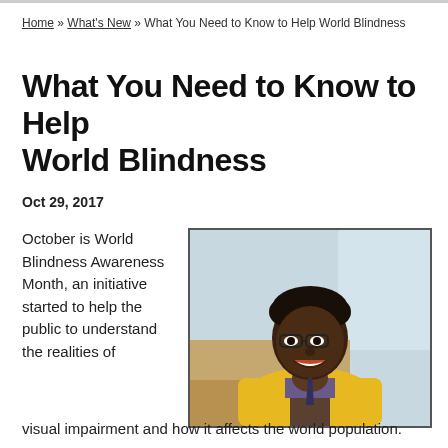Home » What's New » What You Need to Know to Help World Blindness
What You Need to Know to Help World Blindness
Oct 29, 2017
October is World Blindness Awareness Month, an initiative started to help the public to understand the realities of visual impairment and how it affects the world population.
[Figure (photo): A young man wearing glasses and a yellow vest, smiling, photographed outdoors against a light blue/grey background.]